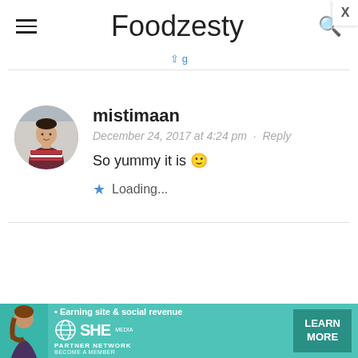Foodzesty
mistimaan
December 24, 2017 at 4:24 pm · Reply
So yummy it is 🙂
★ Loading...
[Figure (infographic): SHE Partner Network advertisement banner with woman, text 'Earning site & social revenue', SHE logo, and 'LEARN MORE' button]